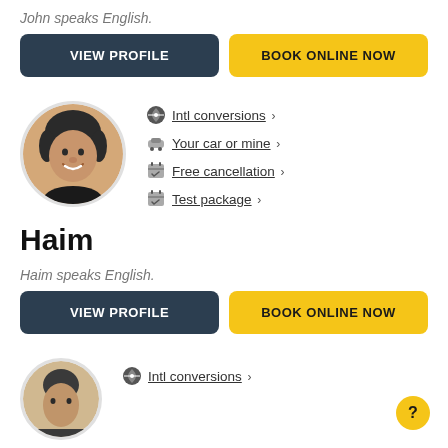John speaks English.
VIEW PROFILE
BOOK ONLINE NOW
[Figure (photo): Circular profile photo of Haim, a middle-aged man smiling, wearing a black shirt]
Intl conversions ›
Your car or mine ›
Free cancellation ›
Test package ›
Haim
Haim speaks English.
VIEW PROFILE
BOOK ONLINE NOW
[Figure (photo): Partial circular profile photo of another person at the bottom of the page]
Intl conversions ›